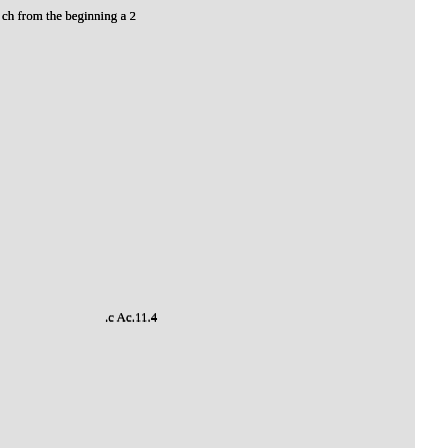ch from the beginning a 2
.c Ac.11.4
bted who are .1  us. eems clear that it could -an account of. Which ; and the word many denotes d that they then living. Here ay had the best of nesses had did not pretend to be eye. e. them, and all others had witnessed than the gospels which natter of con possibly be as good